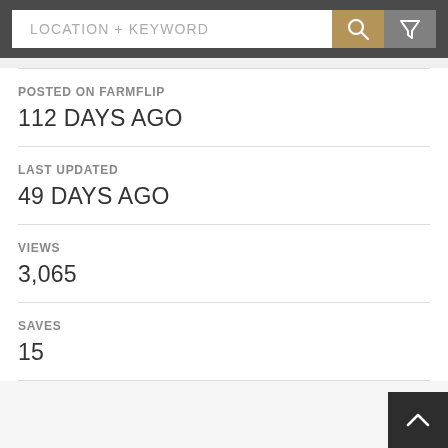LOCATION + KEYWORD
POSTED ON FARMFLIP
112 DAYS AGO
LAST UPDATED
49 DAYS AGO
VIEWS
3,065
SAVES
15